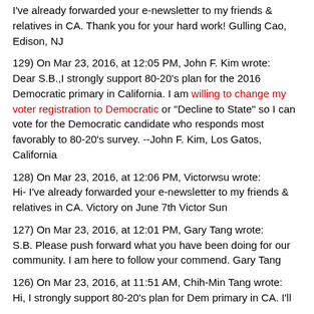I've already forwarded your e-newsletter to my friends & relatives in CA. Thank you for your hard work!  Gulling Cao, Edison, NJ
129) On Mar 23, 2016, at 12:05 PM, John F. Kim wrote: Dear S.B.,I strongly support 80-20's plan for the 2016 Democratic primary in California.  I am willing to change my voter registration to Democratic or "Decline to State" so I can vote for the Democratic candidate who responds most favorably to 80-20's survey.  --John F. Kim, Los Gatos, California
128) On Mar 23, 2016, at 12:06 PM, Victorwsu wrote: Hi- I've already forwarded your e-newsletter to my friends & relatives in CA.  Victory on June 7th  Victor Sun
127) On Mar 23, 2016, at 12:01 PM, Gary Tang wrote: S.B. Please push forward what you have been doing for our community. I am here to follow your commend.  Gary Tang
126) On Mar 23, 2016, at 11:51 AM, Chih-Min Tang wrote: Hi, I strongly support 80-20's plan for Dem primary in CA.  I'll